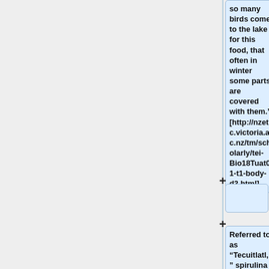so many birds come to the lake for this food, that often in winter some parts are covered with them." [http://nzetc.victoria.ac.nz/tm/scholarly/tei-Bio18Tuat01-t1-body-d3.html]
+
Referred to as “Tecuitlatl,” spirulina was a primary source of protein for the Aztecs for several hundred years and Lake